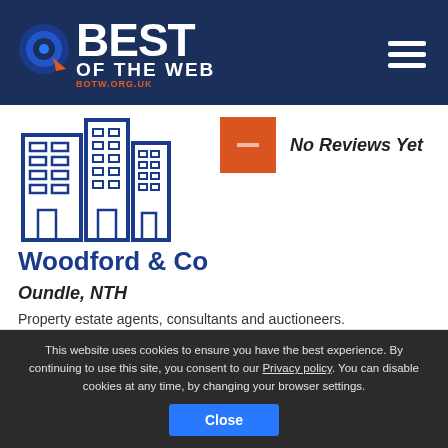[Figure (logo): Best of the Web logo with circular eye icon and BEST OF THE WEB text on dark navy background, BOTW.ORG.UK subtitle in orange]
[Figure (illustration): Blue line-art icon of city buildings/office blocks]
[Figure (infographic): Orange square badge with white dash line indicating no rating, labeled No Reviews Yet]
Woodford & Co
Oundle, NTH
Property estate agents, consultants and auctioneers. Lists available properties plus land for sale.
This website uses cookies to ensure you have the best experience. By continuing to use this site, you consent to our Privacy policy. You can disable cookies at any time, by changing your browser settings.